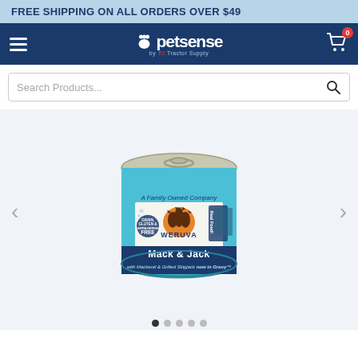FREE SHIPPING ON ALL ORDERS OVER $49
[Figure (logo): Petsense by Tractor Supply logo with hamburger menu and cart icon showing 0 items]
Search Products...
[Figure (photo): Weruva Mack & Jack with Mackerel & Grilled Skipjack now in Gravy cat food can. Grain, Gluten & Carrageenan Free. A Family Owned Company. Real Food!]
Mack & Jack with Mackerel & Grilled Skipjack now in Gravy